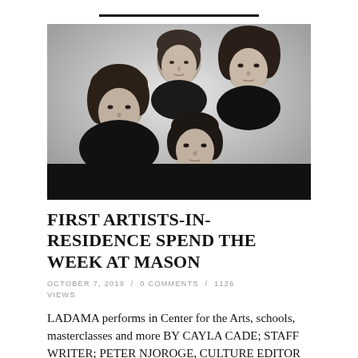[Figure (photo): Black and white portrait photograph of four young women grouped closely together, looking at the camera]
FIRST ARTISTS-IN-RESIDENCE SPEND THE WEEK AT MASON
OCTOBER 7, 2019  /  0 COMMENTS  /  1126 VIEWS
LADAMA performs in Center for the Arts, schools, masterclasses and more BY CAYLA CADE; STAFF WRITER; PETER NJOROGE, CULTURE EDITOR LADAMA, the first group of Mason